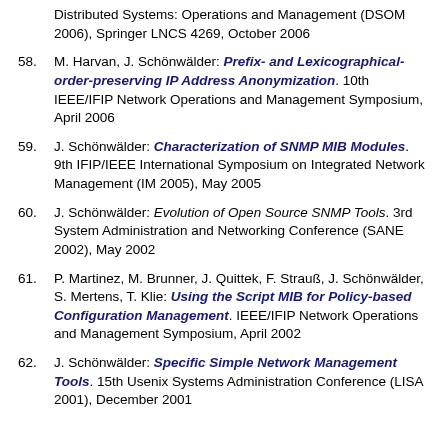Distributed Systems: Operations and Management (DSOM 2006), Springer LNCS 4269, October 2006
58. M. Harvan, J. Schönwälder: Prefix- and Lexicographical-order-preserving IP Address Anonymization. 10th IEEE/IFIP Network Operations and Management Symposium, April 2006
59. J. Schönwälder: Characterization of SNMP MIB Modules. 9th IFIP/IEEE International Symposium on Integrated Network Management (IM 2005), May 2005
60. J. Schönwälder: Evolution of Open Source SNMP Tools. 3rd System Administration and Networking Conference (SANE 2002), May 2002
61. P. Martinez, M. Brunner, J. Quittek, F. Strauß, J. Schönwälder, S. Mertens, T. Klie: Using the Script MIB for Policy-based Configuration Management. IEEE/IFIP Network Operations and Management Symposium, April 2002
62. J. Schönwälder: Specific Simple Network Management Tools. 15th Usenix Systems Administration Conference (LISA 2001), December 2001